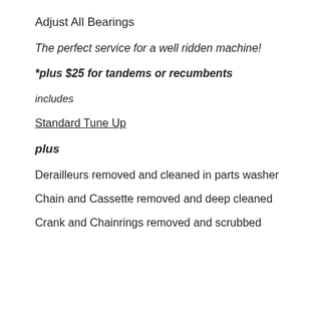Adjust All Bearings
The perfect service for a well ridden machine!
*plus $25 for tandems or recumbents
includes
Standard Tune Up
plus
Derailleurs removed and cleaned in parts washer
Chain and Cassette removed and deep cleaned
Crank and Chainrings removed and scrubbed